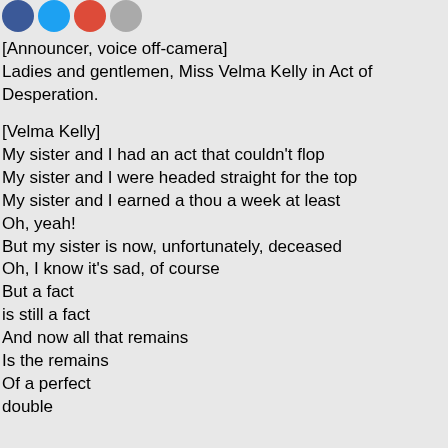[Figure (other): Social media share icons: Facebook (blue), Twitter (blue), Google+ (red), Email (gray)]
[Announcer, voice off-camera]
Ladies and gentlemen, Miss Velma Kelly in Act of Desperation.
[Velma Kelly]
My sister and I had an act that couldn't flop
My sister and I were headed straight for the top
My sister and I earned a thou a week at least
Oh, yeah!
But my sister is now, unfortunately, deceased
Oh, I know it's sad, of course
But a fact
is still a fact
And now all that remains
Is the remains
Of a perfect
double